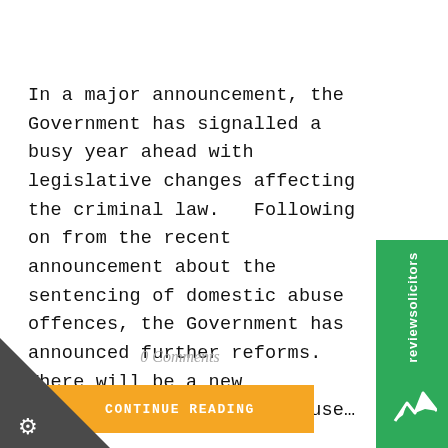In a major announcement, the Government has signalled a busy year ahead with legislative changes affecting the criminal law.  Following on from the recent announcement about the sentencing of domestic abuse offences, the Government has announced further reforms.  There will be a new definition of domestic abuse...
0 Comments
CONTINUE READING